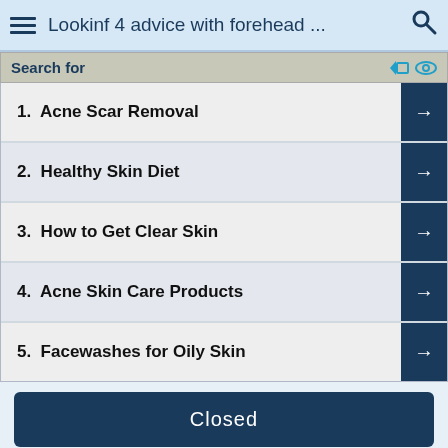Lookinf 4 advice with forehead ...
Search for
1.  Acne Scar Removal
2.  Healthy Skin Diet
3.  How to Get Clear Skin
4.  Acne Skin Care Products
5.  Facewashes for Oily Skin
Closed